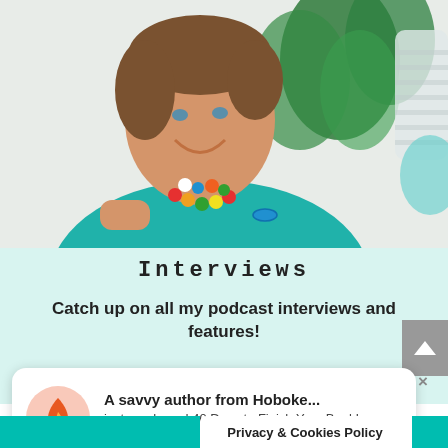[Figure (photo): A smiling woman with short brown hair wearing a teal top and a colorful beaded necklace, posing in front of a green plant and a white lamp/vase.]
Interviews
Catch up on all my podcast interviews and features!
[Figure (screenshot): TrustPulse notification popup: 'A savvy author from Hoboke... just purchased 40 Days to Finish Your Book! a day ago | by TrustPulse']
Privacy & Cookies Policy